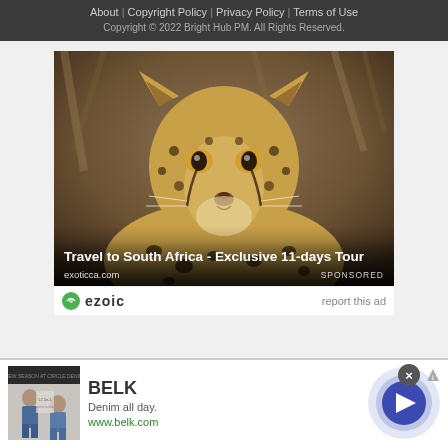About | Copyright Policy | Privacy Policy | Terms of Use
Copyright © 2022 Bright Hub PM. All Rights Reserved.
[Figure (photo): Close-up photo of a cheetah facing the camera against a blurred brown savanna background. Text overlay: 'Travel to South Africa - Exclusive 11-days Tour', exoticca.com, SPONSORED]
ezoic   report this ad
[Figure (photo): BELK advertisement banner. Shows fashion images of women in denim clothing on left thumbnail. Text: BELK, Denim all day., www.belk.com. Blue circular arrow button on right. Close X button and AdChoices icon at top right.]